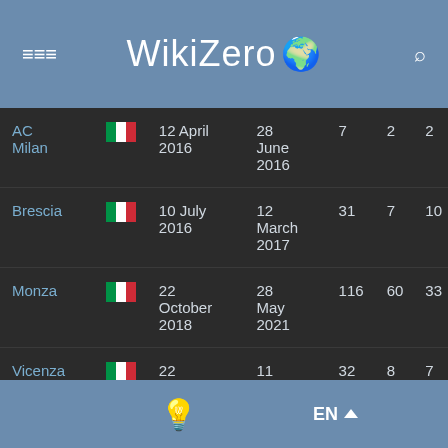WikiZero
| Club | Country | From | To | Apps | Goals | ? |
| --- | --- | --- | --- | --- | --- | --- |
| AC Milan | Italy | 12 April 2016 | 28 June 2016 | 7 | 2 | 2 |
| Brescia | Italy | 10 July 2016 | 12 March 2017 | 31 | 7 | 10 |
| Monza | Italy | 22 October 2018 | 28 May 2021 | 116 | 60 | 33 |
| Vicenza | Italy | 22 September ... | 11 April ... | 32 | 8 | 7 |
EN